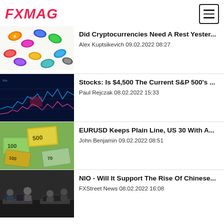FXMAG
Did Cryptocurrencies Need A Rest Yester...
Alex Kuptsikevich 09.02.2022 08:27
Stocks: Is $4,500 The Current S&P 500's ...
Paul Rejczak 08.02.2022 15:33
EURUSD Keeps Plain Line, US 30 With A...
John Benjamin 09.02.2022 08:51
NIO - Will It Support The Rise Of Chinese...
FXStreet News 08.02.2022 16:08